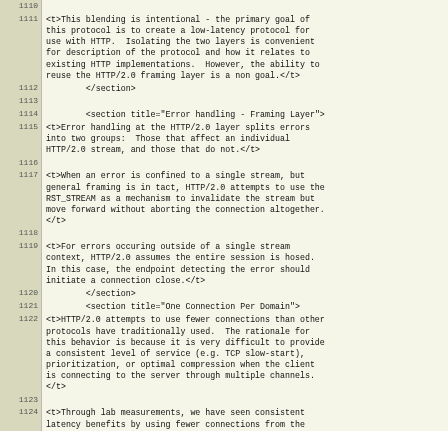| line | code |
| --- | --- |
| 1110 |  |
| 1111 | <t>This blending is intentional - the primary goal of
this protocol is to create a low-latency protocol for
use with HTTP.  Isolating the two layers is convenient
for description of the protocol and how it relates to
existing HTTP implementations.  However, the ability to
reuse the HTTP/2.0 framing layer is a non goal.</t> |
| 1112 |         </section> |
| 1113 |  |
| 1114 |         <section title="Error handling - Framing Layer"> |
| 1115 | <t>Error handling at the HTTP/2.0 layer splits errors
into two groups:  Those that affect an individual
HTTP/2.0 stream, and those that do not.</t> |
| 1116 |  |
| 1117 | <t>When an error is confined to a single stream, but
general framing is in tact, HTTP/2.0 attempts to use the
RST_STREAM as a mechanism to invalidate the stream but
move forward without aborting the connection altogether.
</t> |
| 1118 |  |
| 1119 | <t>For errors occuring outside of a single stream
context, HTTP/2.0 assumes the entire session is hosed.
In this case, the endpoint detecting the error should
initiate a connection close.</t> |
| 1120 |         </section> |
| 1121 |         <section title="One Connection Per Domain"> |
| 1122 | <t>HTTP/2.0 attempts to use fewer connections than other
protocols have traditionally used.  The rationale for
this behavior is because it is very difficult to provide
a consistent level of service (e.g. TCP slow-start),
prioritization, or optimal compression when the client
is connecting to the server through multiple channels.
</t> |
| 1123 |  |
| 1124 | <t>Through lab measurements, we have seen consistent
latency benefits by using fewer connections from the |